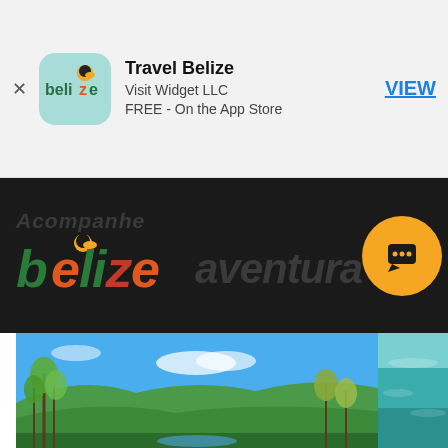[Figure (screenshot): App Store advertisement banner for Travel Belize app by Visit Widget LLC, FREE on the App Store, with a VIEW button]
Travel Belize
Visit Widget LLC
FREE - On the App Store
VIEW
[Figure (infographic): Dark banner with Belize logo, text 'Acompanhe' and 'aventura' in bold italic, with orange chat icon button]
[Figure (photo): Tropical landscape with lush green trees and mountains under a blue sky, and a partial image of turquoise water on the right]